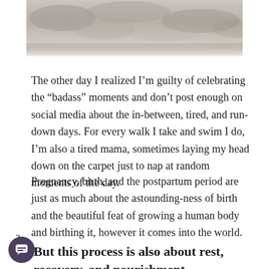[Figure (photo): Partial photo at top of page showing a rocky or natural outdoor scene in muted gray-brown tones, cropped at the bottom]
The other day I realized I’m guilty of celebrating the “badass” moments and don’t post enough on social media about the in-between, tired, and run-down days. For every walk I take and swim I do, I’m also a tired mama, sometimes laying my head down on the carpet just to nap at random moments of the day.
Pregnancy, birth, and the postpartum period are just as much about the astounding-ness of birth and the beautiful feat of growing a human body and birthing it, however it comes into the world.
2
But this process is also about rest, recovery, and nourishment.